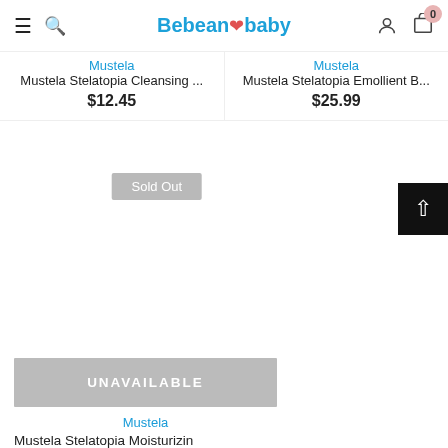Bebean baby — navigation header with hamburger, search, logo, user icon, cart (0)
Mustela
Mustela Stelatopia Cleansing ...
$12.45
Mustela
Mustela Stelatopia Emollient B...
$25.99
Sold Out
UNAVAILABLE
Mustela
Mustela Stelatopia Moisturizin